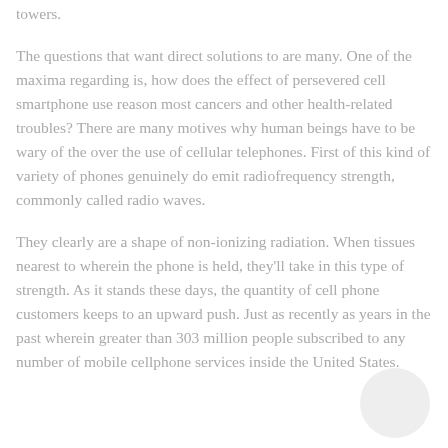towers.
The questions that want direct solutions to are many. One of the maxima regarding is, how does the effect of persevered cell smartphone use reason most cancers and other health-related troubles? There are many motives why human beings have to be wary of the over the use of cellular telephones. First of this kind of variety of phones genuinely do emit radiofrequency strength, commonly called radio waves.
They clearly are a shape of non-ionizing radiation. When tissues nearest to wherein the phone is held, they'll take in this type of strength. As it stands these days, the quantity of cell phone customers keeps to an upward push. Just as recently as years in the past wherein greater than 303 million people subscribed to any number of mobile cellphone services inside the United States.